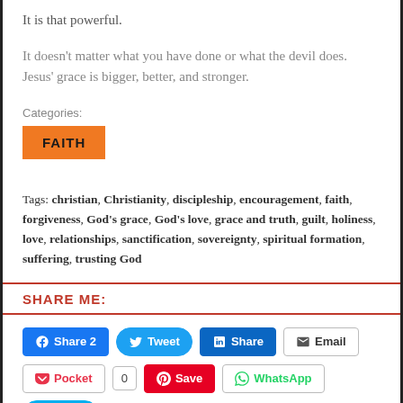It is that powerful.
It doesn't matter what you have done or what the devil does. Jesus' grace is bigger, better, and stronger.
Categories:
FAITH
Tags: christian, Christianity, discipleship, encouragement, faith, forgiveness, God's grace, God's love, grace and truth, guilt, holiness, love, relationships, sanctification, sovereignty, spiritual formation, suffering, trusting God
SHARE ME:
Share 2  Tweet  Share  Email  Pocket  0  Save  WhatsApp  Share  Post  Telegram  Print